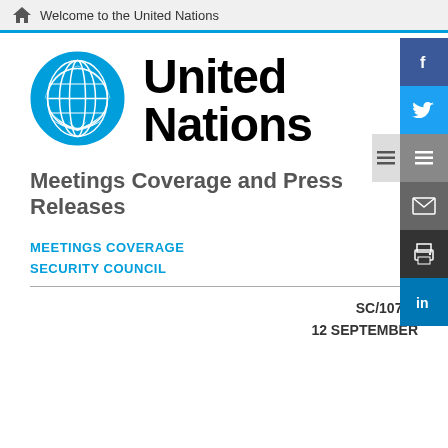Welcome to the United Nations
[Figure (logo): United Nations emblem logo in blue]
United Nations
Meetings Coverage and Press Releases
MEETINGS COVERAGE
SECURITY COUNCIL
SC/10760
12 SEPTEMBER